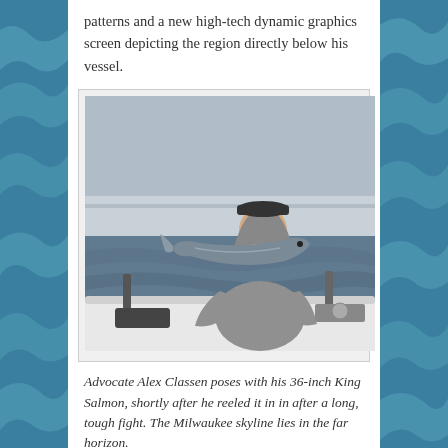patterns and a new high-tech dynamic graphics screen depicting the region directly below his vessel.
[Figure (photo): Young man in a grey hoodie and black cap standing on the back of a white fishing boat, holding up a large King Salmon. The water and distant Milwaukee skyline are visible in the background under a cloudy sky.]
Advocate Alex Classen poses with his 36-inch King Salmon, shortly after he reeled it in in after a long, tough fight. The Milwaukee skyline lies in the far horizon.
Rick had also attached to this line a “dipsy diver” bait